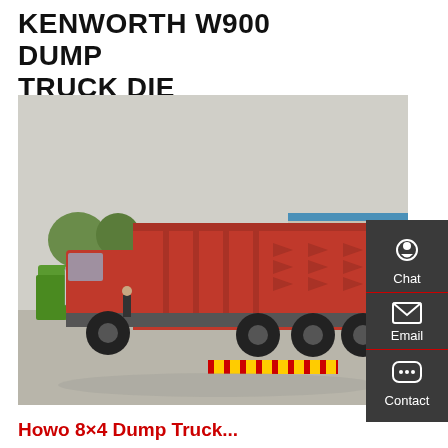KENWORTH W900 DUMP TRUCK DIE
[Figure (photo): Red heavy-duty dump truck (HOWO style) with large red dump body, rear three-quarter view, parked in an industrial yard. A green concrete mixer truck is visible in the background on the left.]
Howo 8×4 Dump Truck...